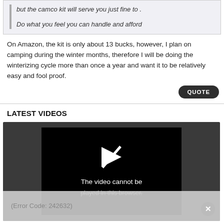but the camco kit will serve you just fine to .

Do what you feel you can handle and afford
On Amazon, the kit is only about 13 bucks, however, I plan on camping during the winter months, therefore I will be doing the winterizing cycle more than once a year and want it to be relatively easy and fool proof.
LATEST VIDEOS
[Figure (screenshot): Video player showing error: 'The video cannot be played in this browser. (Error Code: 242632)']